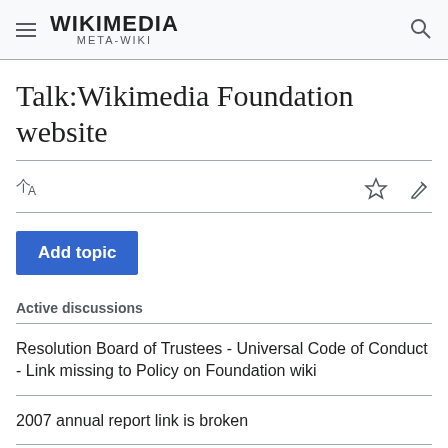WIKIMEDIA META-WIKI
Talk:Wikimedia Foundation website
Add topic
Active discussions
Resolution Board of Trustees - Universal Code of Conduct - Link missing to Policy on Foundation wiki
2007 annual report link is broken
Meta question about the WP site - Version Control